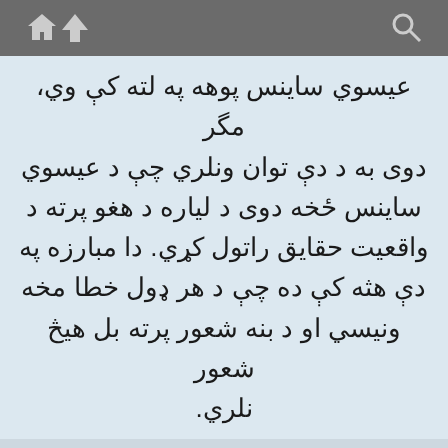Navigation toolbar with home, up, and search icons
عيسوي ساينس پوهه په لته کې وي، مگر دوى به د دې توان ونلري چې د عيسوي ساينس ځخه دوى د لياره د هغو پرته د واقعيت حقايق راتول کړي. دا مبارزه په دې هثه کې ده چې د هر ډول خطا مخه ونيسي او د بنه شعور پرته بل هيڅ شعور نلري.
2. 322 : 31-5
It is easier to desire Truth than to rid one's self of error. Mortals may seek